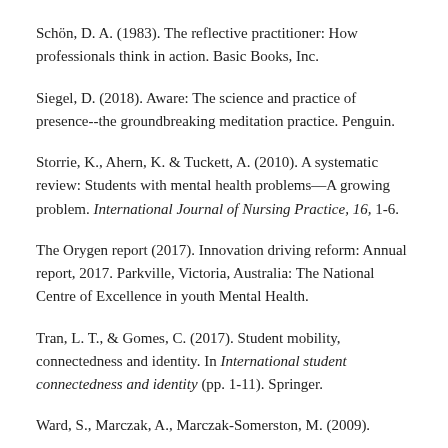Schön, D. A. (1983). The reflective practitioner: How professionals think in action. Basic Books, Inc.
Siegel, D. (2018). Aware: The science and practice of presence--the groundbreaking meditation practice. Penguin.
Storrie, K., Ahern, K. & Tuckett, A. (2010). A systematic review: Students with mental health problems—A growing problem. International Journal of Nursing Practice, 16, 1-6.
The Orygen report (2017). Innovation driving reform: Annual report, 2017. Parkville, Victoria, Australia: The National Centre of Excellence in youth Mental Health.
Tran, L. T., & Gomes, C. (2017). Student mobility, connectedness and identity. In International student connectedness and identity (pp. 1-11). Springer.
Ward, S., Marczak, A., Marczak-Somerston, M. (2009)...